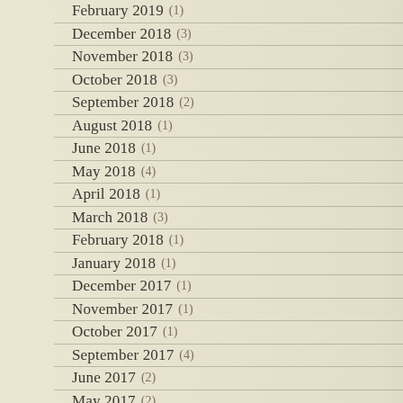February 2019 (1)
December 2018 (3)
November 2018 (3)
October 2018 (3)
September 2018 (2)
August 2018 (1)
June 2018 (1)
May 2018 (4)
April 2018 (1)
March 2018 (3)
February 2018 (1)
January 2018 (1)
December 2017 (1)
November 2017 (1)
October 2017 (1)
September 2017 (4)
June 2017 (2)
May 2017 (2)
April 2017 (2)